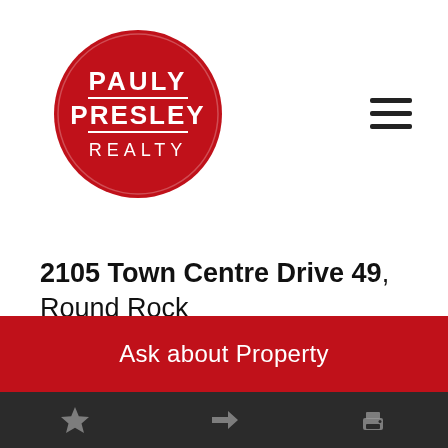[Figure (logo): Pauly Presley Realty circular logo - red circle with white text PAULY PRESLEY REALTY]
2105 Town Centre Drive 49, Round Rock
$2,350
Ask about Property
Star | Share | Print icons